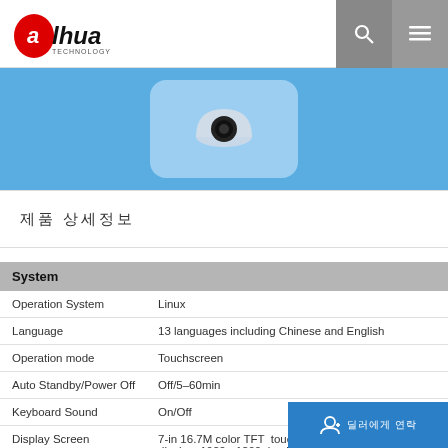[Figure (logo): Dahua Technology logo - red oval with 'alhua TECHNOLOGY' text]
[Figure (photo): Security dome camera product image on light blue background]
제품 상세정보
| System |  |
| --- | --- |
| Operation System | Linux |
| Language | 13 languages including Chinese and English |
| Operation mode | Touchscreen |
| Auto Standby/Power Off | Off/5–60min |
| Keyboard Sound | On/Off |
| Display Screen | 7-in 16.7M color TFT touch screen, RGB interface lcd display: 1920 ×1200, backlight brightness adjustable |
| Button | Keypad: 13 keys |